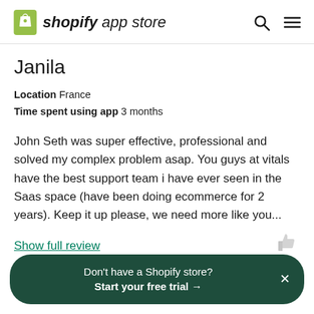shopify app store
Janila
Location  France
Time spent using app  3 months
John Seth was super effective, professional and solved my complex problem asap. You guys at vitals have the best support team i have ever seen in the Saas space (have been doing ecommerce for 2 years). Keep it up please, we need more like you...
Show full review
Don't have a Shopify store?
Start your free trial →